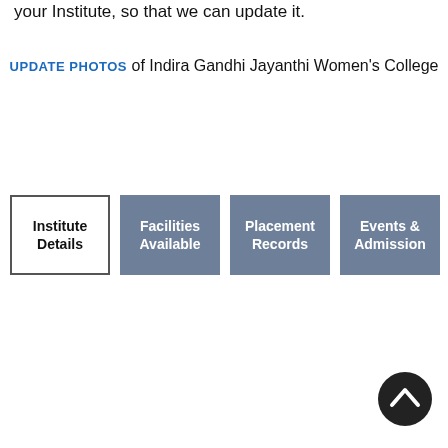your Institute, so that we can update it.
UPDATE PHOTOS of Indira Gandhi Jayanthi Women's College
[Figure (screenshot): Navigation tab buttons: Institute Details (active, white background with border), Facilities Available, Placement Records, Events & Admission (all inactive, grey-blue background with white text)]
[Figure (other): Scroll-to-top button, dark circular button with upward chevron arrow]